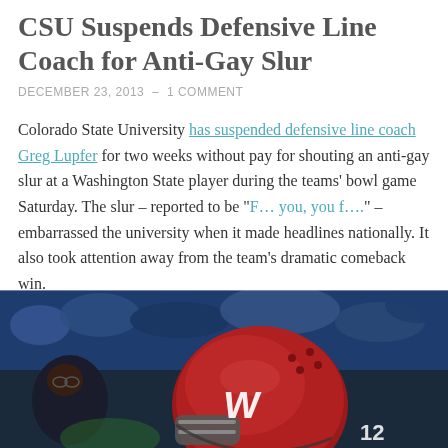CSU Suspends Defensive Line Coach for Anti-Gay Slur
DECEMBER 23, 2013  –  1 COMMENT
Colorado State University has suspended defensive line coach Greg Lupfer for two weeks without pay for shouting an anti-gay slur at a Washington State player during the teams' bowl game Saturday. The slur – reported to be “F… you, you f….” – embarrassed the university when it made headlines nationally. It also took attention away from the team’s dramatic comeback win.
[Figure (photo): Photo of a Washington State player wearing a red helmet with the WSU logo and number 12, with crowd and other people in background]